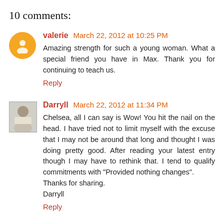10 comments:
valerie March 22, 2012 at 10:25 PM
Amazing strength for such a young woman. What a special friend you have in Max. Thank you for continuing to teach us.
Reply
Darryll March 22, 2012 at 11:34 PM
Chelsea, all I can say is Wow! You hit the nail on the head. I have tried not to limit myself with the excuse that I may not be around that long and thought I was doing pretty good. After reading your latest entry though I may have to rethink that. I tend to qualify commitments with "Provided nothing changes".
Thanks for sharing.
Darryll
Reply